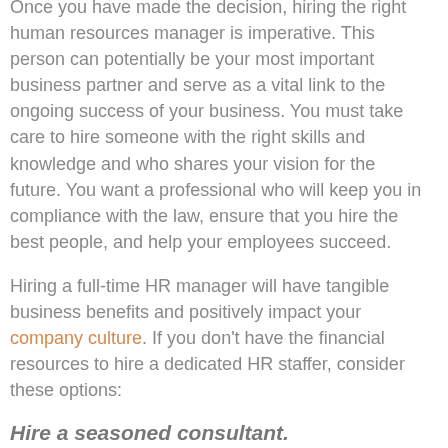Once you have made the decision, hiring the right human resources manager is imperative. This person can potentially be your most important business partner and serve as a vital link to the ongoing success of your business. You must take care to hire someone with the right skills and knowledge and who shares your vision for the future. You want a professional who will keep you in compliance with the law, ensure that you hire the best people, and help your employees succeed.
Hiring a full-time HR manager will have tangible business benefits and positively impact your company culture. If you don't have the financial resources to hire a dedicated HR staffer, consider these options:
Hire a seasoned consultant.
An HR consultant works closely with ownership and the management team to align your human resources strategy with your business goals. Working with a consultant can also help you define exactly what your needs are when and if the time comes to hire a full-time HR manager. You can pick and choose the functions you want the consultant to handle based